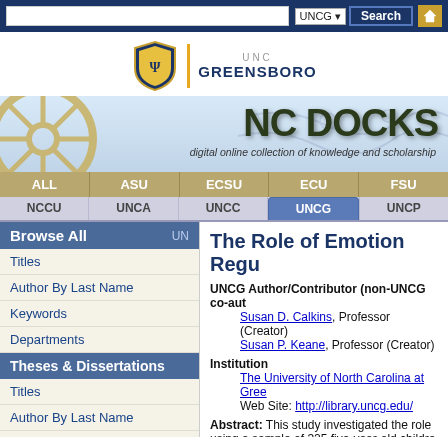[Figure (screenshot): NC DOCKS digital repository website screenshot showing UNCG branding, navigation tabs, and a record for 'The Role of Emotion Regulation' with author, institution, and abstract information.]
UNCG | Search | NC DOCKS
Browse All
Titles
Author By Last Name
Keywords
Departments
Theses & Dissertations
Titles
Author By Last Name
The Role of Emotion Regu...
UNCG Author/Contributor (non-UNCG co-aut...
    Susan D. Calkins, Professor (Creator)
    Susan P. Keane, Professor (Creator)
Institution
    The University of North Carolina at Gree...
    Web Site: http://library.uncg.edu/
Abstract: This study investigated the role using a sample of 325 five-year-old childre...